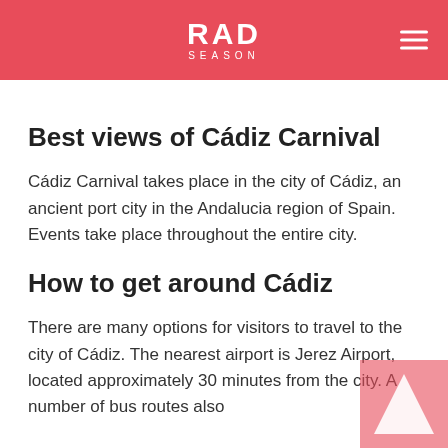RAD SEASON
Best views of Cádiz Carnival
Cádiz Carnival takes place in the city of Cádiz, an ancient port city in the Andalucia region of Spain. Events take place throughout the entire city.
How to get around Cádiz
There are many options for visitors to travel to the city of Cádiz. The nearest airport is Jerez Airport, located approximately 30 minutes from the city. A number of bus routes also